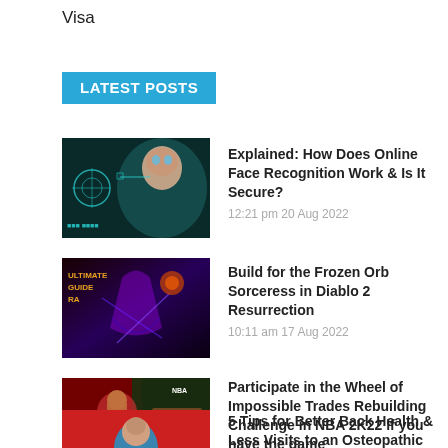Visa
LATEST POSTS
[Figure (photo): Technology face recognition image with glowing blue digital overlays]
Explained: How Does Online Face Recognition Work & Is It Secure?
12:21 pm 20 Aug 2022
[Figure (photo): Diablo 2 game screenshot with dark fantasy characters and lightning effects]
Build for the Frozen Orb Sorceress in Diablo 2 Resurrection
10:11 am 17 Aug 2022
[Figure (photo): NBA 2K22 game screenshot with basketball players]
Participate in the Wheel of Impossible Trades Rebuilding Challenge in NBA 2K22 if you have the game
8:55 am 17 Aug 2022
[Figure (photo): Red background with illustrated figure of person showing back/spine]
5 Tips for Better Back Health & Less Visits to an Osteopathic Centre in Singapore